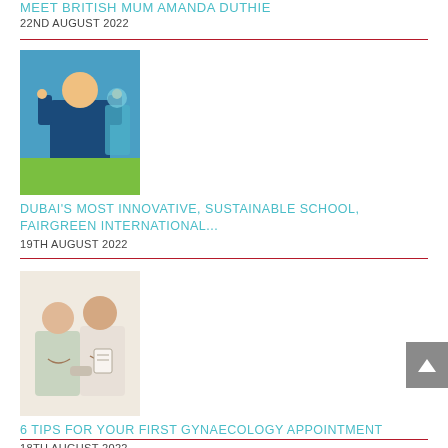MEET BRITISH MUM AMANDA DUTHIE
22ND AUGUST 2022
[Figure (photo): Photo of a child at school making a gesture at the camera in a classroom]
DUBAI'S MOST INNOVATIVE, SUSTAINABLE SCHOOL, FAIRGREEN INTERNATIONAL...
19TH AUGUST 2022
[Figure (photo): Photo of two women smiling at each other in a clinical/medical setting]
6 TIPS FOR YOUR FIRST GYNAECOLOGY APPOINTMENT
18TH AUGUST 2022